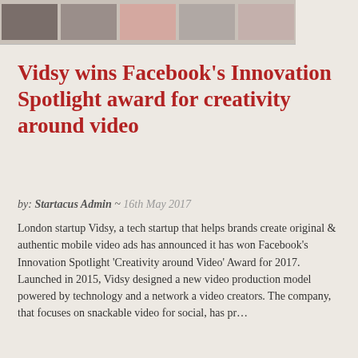[Figure (photo): Strip of thumbnail images at the top of the page showing various photos]
Vidsy wins Facebook’s Innovation Spotlight award for creativity around video
by: Startacus Admin ~ 16th May 2017
London startup Vidsy, a tech startup that helps brands create original & authentic mobile video ads has announced it has won Facebook’s Innovation Spotlight ‘Creativity around Video’ Award for 2017.  Launched in 2015, Vidsy designed a new video production model powered by technology and a network a video creators. The company, that focuses on snackable video for social, has pr…
Read Post »
[Figure (photo): Photo of hands typing on a white keyboard with a white mouse and a yellow pen/stylus on a light desk surface]